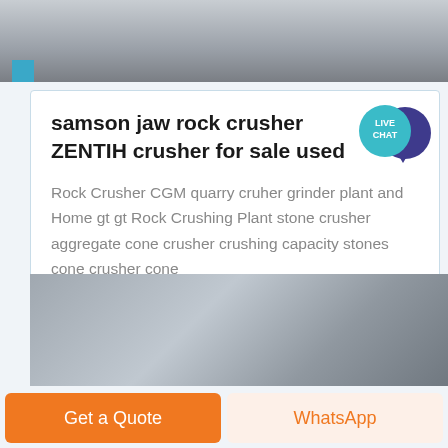[Figure (photo): Top partial photo of industrial crusher/construction equipment, gray tones]
samson jaw rock crusher ZENTIH crusher for sale used
Rock Crusher CGM quarry cruher grinder plant and Home gt gt Rock Crushing Plant stone crusher aggregate cone crusher crushing capacity stones cone crusher cone
[Figure (photo): Bottom partial photo of industrial building/warehouse interior with equipment]
Get a Quote
WhatsApp